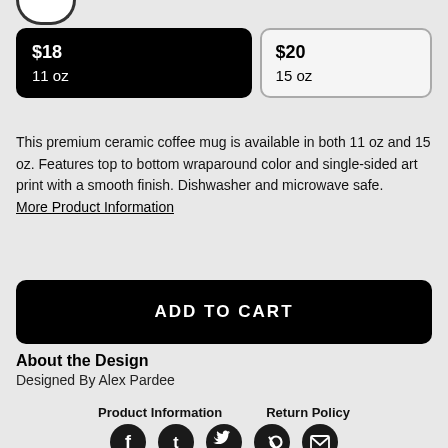[Figure (other): Partial circle/arc at top left, white background, dark border]
| $18
11 oz | $20
15 oz |
This premium ceramic coffee mug is available in both 11 oz and 15 oz. Features top to bottom wraparound color and single-sided art print with a smooth finish. Dishwasher and microwave safe.
More Product Information
ADD TO CART
About the Design
Designed By Alex Pardee
Product Information    Return Policy
[Figure (other): Social media icon buttons: Facebook, Tumblr, Twitter, Pinterest, Email]
BUNNYWITH is also available on